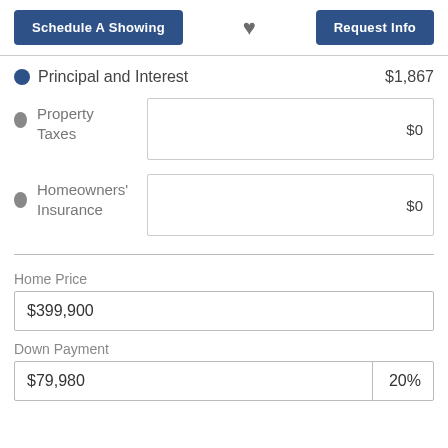Schedule A Showing
Request Info
Principal and Interest $1,867
Property Taxes $0
Homeowners' Insurance $0
Home Price
$399,900
Down Payment